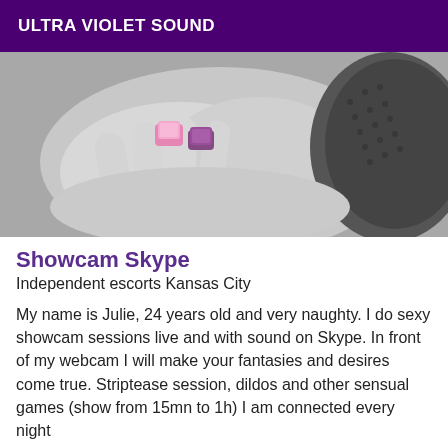ULTRA VIOLET SOUND
[Figure (photo): Black and white photo of a woman's hands with colorful gemstone rings (pink and purple), resting near black lace fabric]
Showcam Skype
Independent escorts Kansas City
My name is Julie, 24 years old and very naughty. I do sexy showcam sessions live and with sound on Skype. In front of my webcam I will make your fantasies and desires come true. Striptease session, dildos and other sensual games (show from 15mn to 1h) I am connected every night
[Figure (photo): Outdoor photo showing autumn trees with colorful foliage in orange, red and green]